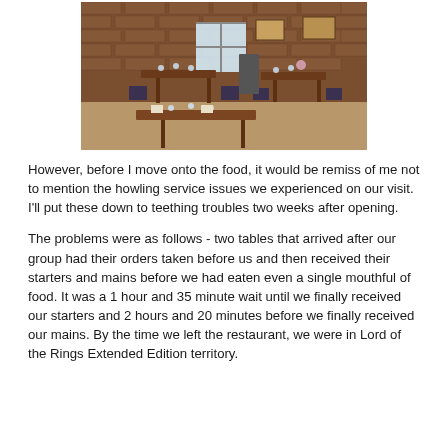[Figure (photo): Interior of a restaurant with brick walls, wooden tables set with glasses and menus, chairs, and natural light from a window in the background.]
However, before I move onto the food, it would be remiss of me not to mention the howling service issues we experienced on our visit. I'll put these down to teething troubles two weeks after opening.
The problems were as follows - two tables that arrived after our group had their orders taken before us and then received their starters and mains before we had eaten even a single mouthful of food. It was a 1 hour and 35 minute wait until we finally received our starters and 2 hours and 20 minutes before we finally received our mains. By the time we left the restaurant, we were in Lord of the Rings Extended Edition territory.